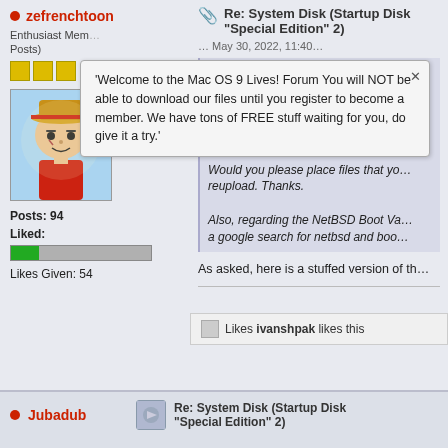zefrenchtoon
Enthusiast Member (Posts)
[Figure (illustration): Avatar showing anime character (Monkey D. Luffy from One Piece) with straw hat]
Posts: 94
Liked:
[Figure (infographic): Likes progress bar, partially filled green on grey background]
Likes Given: 54
Re: System Disk (Startup Disk "Special Edition" 2)
'Welcome to the Mac OS 9 Lives! Forum You will NOT be able to download our files until you register to become a member. We have tons of FREE stuff waiting for you, do give it a try.'
Quote from: LXmax on May 17, 2022, 07:07:24 A
I downloaded the System Disk Utilit… corrupted. In particular, the System …
Would you please place files that yo… reupload. Thanks.
Also, regarding the NetBSD Boot Va… a google search for netbsd and boo…
As asked, here is a stuffed version of th…
ivanshpak likes this
Jubadub
Re: System Disk (Startup Disk "Special Edition" 2)